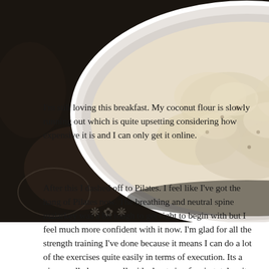[Figure (photo): Top-down view of a white bowl containing a creamy, pale beige oatmeal or porridge, set on a dark ornate patterned surface/plate.]
I'm still loving this breakfast. My coconut flour is slowly running out which is quite upsetting considering how expensive it is and I can only get it online.
After this I dashed off to Pilates. I feel like I've got the hang of Pilates now. The breathing and neutral spine malarkey was a bit tough to get right to begin with but I feel much more confident with it now. I'm glad for all the strength training I've done because it means I can do a lot of the exercises quite easily in terms of execution. Its a nice small class as well with about six of us in total so it